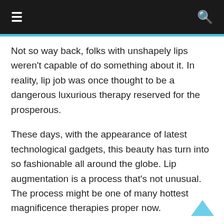≡  🔍
Not so way back, folks with unshapely lips weren't capable of do something about it. In reality, lip job was once thought to be a dangerous luxurious therapy reserved for the prosperous.
These days, with the appearance of latest technological gadgets, this beauty has turn into so fashionable all around the globe. Lip augmentation is a process that's not unusual. The process might be one of many hottest magnificence therapies proper now.
On this article, we now have compiled an inventory of some feminine celebrities who did one thing in regards to the look of their lips and are very a lot glad with the end result.
With that mentioned, let's get again to the subject of the day — however earlier than we do this, are you